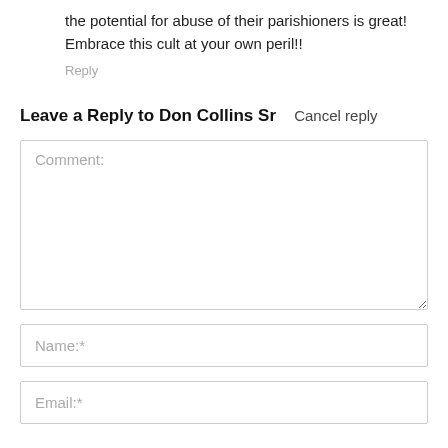the potential for abuse of their parishioners is great! Embrace this cult at your own peril!!
Reply
Leave a Reply to Don Collins Sr  Cancel reply
Comment:
Name:*
Email:*